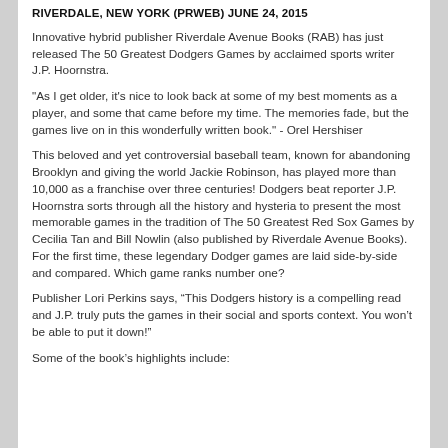RIVERDALE, NEW YORK (PRWEB) JUNE 24, 2015
Innovative hybrid publisher Riverdale Avenue Books (RAB) has just released The 50 Greatest Dodgers Games by acclaimed sports writer J.P. Hoornstra.
"As I get older, it's nice to look back at some of my best moments as a player, and some that came before my time. The memories fade, but the games live on in this wonderfully written book." - Orel Hershiser
This beloved and yet controversial baseball team, known for abandoning Brooklyn and giving the world Jackie Robinson, has played more than 10,000 as a franchise over three centuries! Dodgers beat reporter J.P. Hoornstra sorts through all the history and hysteria to present the most memorable games in the tradition of The 50 Greatest Red Sox Games by Cecilia Tan and Bill Nowlin (also published by Riverdale Avenue Books). For the first time, these legendary Dodger games are laid side-by-side and compared. Which game ranks number one?
Publisher Lori Perkins says, “This Dodgers history is a compelling read and J.P. truly puts the games in their social and sports context. You won’t be able to put it down!”
Some of the book’s highlights include: